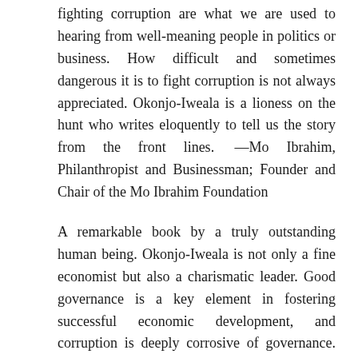fighting corruption are what we are used to hearing from well-meaning people in politics or business. How difficult and sometimes dangerous it is to fight corruption is not always appreciated. Okonjo-Iweala is a lioness on the hunt who writes eloquently to tell us the story from the front lines. —Mo Ibrahim, Philanthropist and Businessman; Founder and Chair of the Mo Ibrahim Foundation
A remarkable book by a truly outstanding human being. Okonjo-Iweala is not only a fine economist but also a charismatic leader. Good governance is a key element in fostering successful economic development, and corruption is deeply corrosive of governance. These reflections on fighting corruption are not only a gripping and moving personal story of